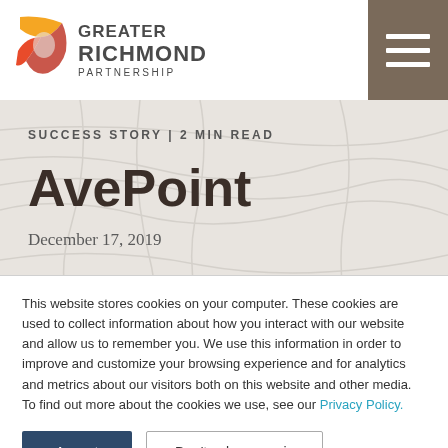Greater Richmond Partnership
[Figure (logo): Greater Richmond Partnership logo with orange and red graphic and text]
SUCCESS STORY | 2 MIN READ
AvePoint
December 17, 2019
This website stores cookies on your computer. These cookies are used to collect information about how you interact with our website and allow us to remember you. We use this information in order to improve and customize your browsing experience and for analytics and metrics about our visitors both on this website and other media. To find out more about the cookies we use, see our Privacy Policy.